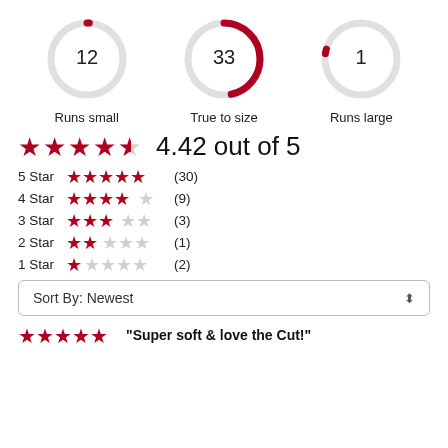[Figure (donut-chart): Three donut/ring charts showing size fit distribution: Runs small (12), True to size (33), Runs large (1)]
[Figure (other): Rating summary: 4.42 out of 5 with 4.5 star display]
5 Star (30)
4 Star (9)
3 Star (3)
2 Star (1)
1 Star (2)
Sort By: Newest
"Super soft & love the Cut!"